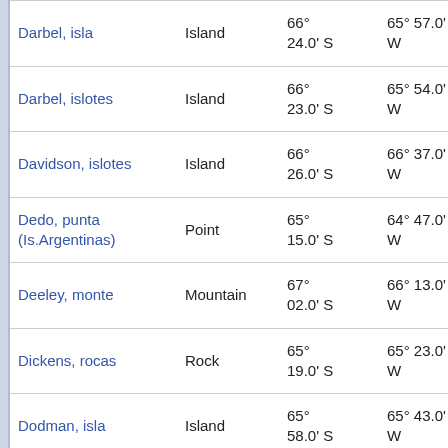| Name | Type | Latitude | Longitude | Ref |
| --- | --- | --- | --- | --- |
| Darbel, isla | Island | 66° 24.0' S | 65° 57.0' W | 36.3 k... at 194... |
| Darbel, islotes | Island | 66° 23.0' S | 65° 54.0' W | 34.0 k... at 192... |
| Davidson, islotes | Island | 66° 26.0' S | 66° 37.0' W | 55.0 k... at 225... |
| Dedo, punta (Is.Argentinas) | Point | 65° 15.0' S | 64° 47.0' W | 102.7... at 26°... |
| Deeley, monte | Mountain | 67° 02.0' S | 66° 13.0' W | 107.6... at 192... |
| Dickens, rocas | Rock | 65° 19.0' S | 65° 23.0' W | 86.9 k... at 11°... |
| Dodman, isla | Island | 65° 58.0' S | 65° 43.0' W | 13.1 k... at 7°... |
| Doyle, glaciar | Glacier | 66° 00.0' S | 65° 18.0' W | 22.3 k... at 668... |